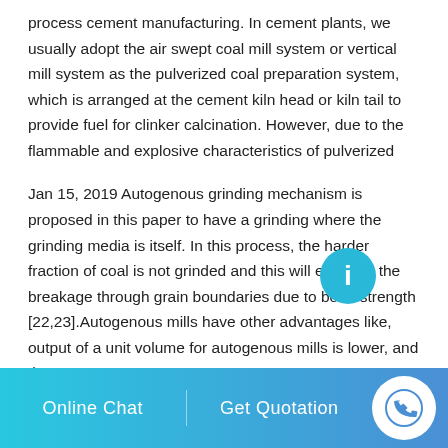process cement manufacturing. In cement plants, we usually adopt the air swept coal mill system or vertical mill system as the pulverized coal preparation system, which is arranged at the cement kiln head or kiln tail to provide fuel for clinker calcination. However, due to the flammable and explosive characteristics of pulverized
Jan 15, 2019 Autogenous grinding mechanism is proposed in this paper to have a grinding where the grinding media is itself. In this process, the harder fraction of coal is not grinded and this will enhance the breakage through grain boundaries due to bond strength [22,23].Autogenous mills have other advantages like, output of a unit volume for autogenous mills is lower, and the
Online Chat   Get Quotation